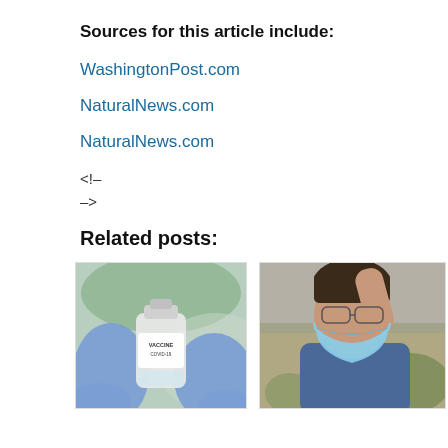Sources for this article include:
WashingtonPost.com
NaturalNews.com
NaturalNews.com
<!–
–>
Related posts:
[Figure (photo): Gloved hands holding a COVID-19 vaccine vial]
[Figure (photo): Man wearing a face mask and glasses, touching his glasses with hand raised]